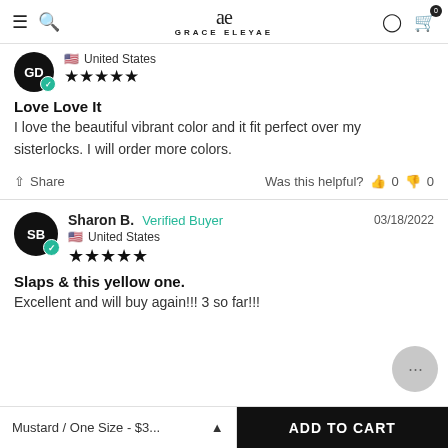GRACE ELEYAE
GD · United States · ★★★★★
Love Love It
I love the beautiful vibrant color and it fit perfect over my sisterlocks. I will order more colors.
Share · Was this helpful? 👍 0 👎 0
Sharon B. · Verified Buyer · 03/18/2022 · United States · ★★★★★
Slaps & this yellow one.
Excellent and will buy again!!! 3 so far!!!
Mustard / One Size - $3... · ADD TO CART